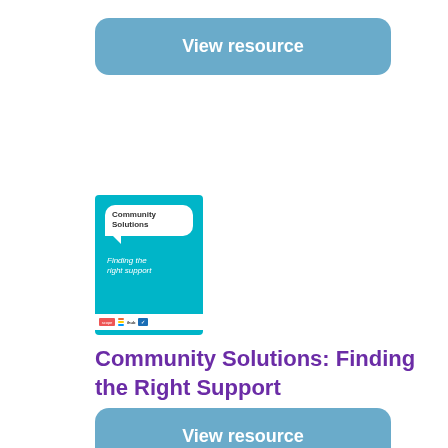View resource
[Figure (illustration): Book cover for Community Solutions: Finding the Right Support. Teal/turquoise colored cover with a white speech bubble containing 'Community Solutions' in dark text, and 'Finding the right support' as italic subtitle. Logos at the bottom on a white bar.]
Community Solutions: Finding the Right Support
View resource